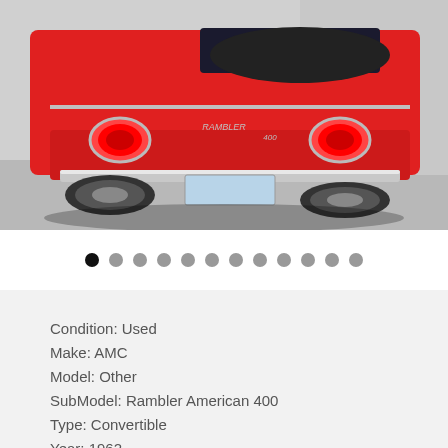[Figure (photo): Rear view of a red 1962 AMC Rambler American 400 convertible parked in a lot, with the convertible top folded down and chrome bumper visible.]
● ● ● ● ● ● ● ● ● ● ● ●
Condition: Used
Make: AMC
Model: Other
SubModel: Rambler American 400
Type: Convertible
Year: 1962
Mileage: 52,500
VIN: B484379